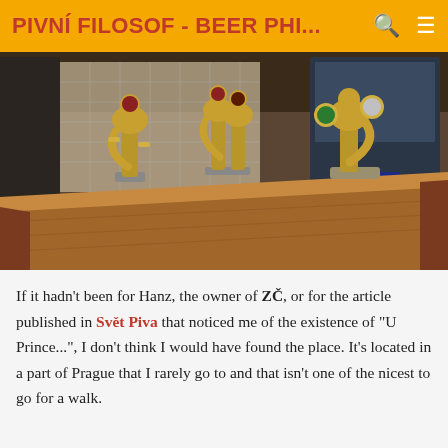PIVNÍ FILOSOF - BEER PHI...
[Figure (photo): Interior of a Czech pub bar with multiple gold beer taps on a wooden bar counter, refrigerator with Pepsi branding visible in the background]
If it hadn't been for Hanz, the owner of ZČ, or for the article published in Svět Piva that noticed me of the existence of "U Prince...", I don't think I would have found the place. It's located in a part of Prague that I rarely go to and that isn't one of the nicest to go for a walk.